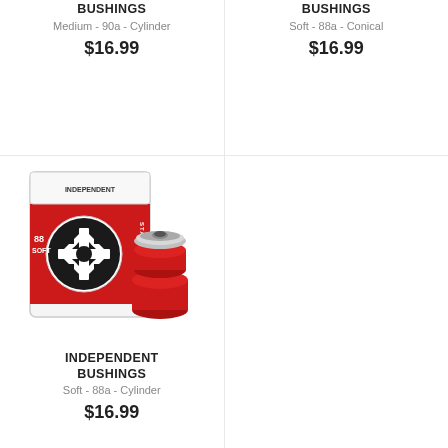INDEPENDENT BUSHINGS
Medium - 90a - Cylinder
$16.99
INDEPENDENT BUSHINGS
Soft - 88a - Conical
$16.99
[Figure (photo): Independent Bushings product photo showing red packaging box with Independent cross logo and two red cylindrical bushings with silver metal cap]
INDEPENDENT BUSHINGS
Soft - 88a - Cylinder
$16.99